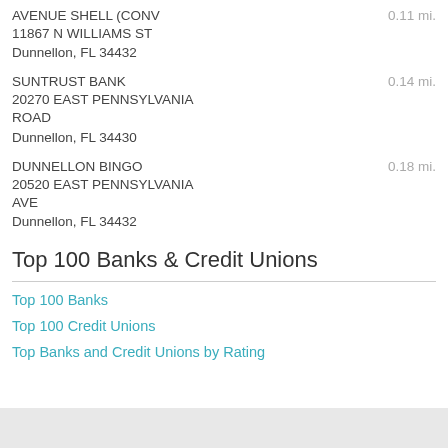AVENUE SHELL (CONV
11867 N WILLIAMS ST
Dunnellon, FL 34432
0.11 mi.
SUNTRUST BANK
20270 EAST PENNSYLVANIA ROAD
Dunnellon, FL 34430
0.14 mi.
DUNNELLON BINGO
20520 EAST PENNSYLVANIA AVE
Dunnellon, FL 34432
0.18 mi.
Top 100 Banks & Credit Unions
Top 100 Banks
Top 100 Credit Unions
Top Banks and Credit Unions by Rating